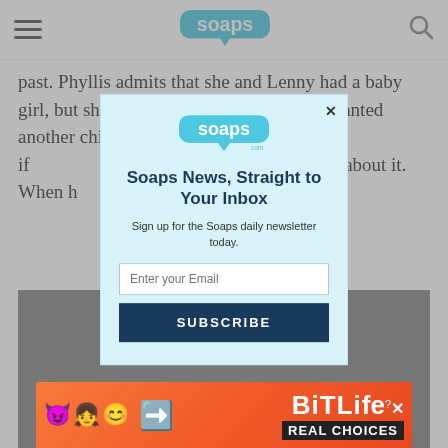soaps (logo, hamburger menu, search icon)
past. Phyllis admits that she and Lenny had a baby girl, but she only lived a few days. They wanted another child but were afraid. She asks if                                    n somewhere                                  nk about it. When h                                   hows up.
[Figure (screenshot): Gray video/image block placeholder]
[Figure (screenshot): Email subscription popup modal with soaps.com logo, headline 'Soaps News, Straight to Your Inbox', subtitle 'Sign up for the Soaps daily newsletter today.', email input field, and SUBSCRIBE button]
[Figure (advertisement): BitLife ad banner with colorful emojis and text REAL CHOICES on orange background]